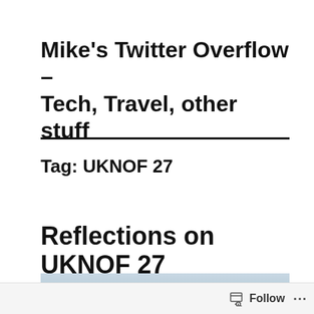Mike's Twitter Overflow – Tech, Travel, other stuff
Tag: UKNOF 27
Reflections on UKNOF 27
[Figure (photo): Partially visible outdoor or sky photo, light blue-grey tones, appears to be the beginning of an article image]
Follow   ...